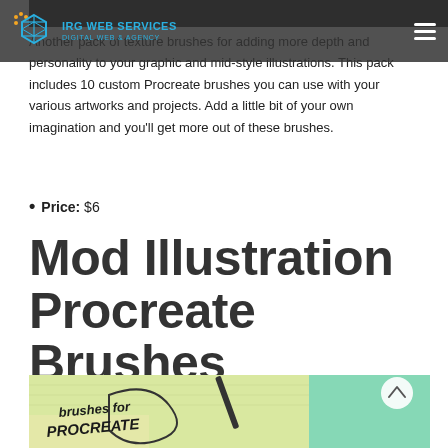[Figure (screenshot): Navigation bar with IRG Web Services logo (blue cube icon) and hamburger menu on dark background]
Another pack of texture brushes for adding more depth and personality to your graphic and mid-style illustrations. This pack includes 10 custom Procreate brushes you can use with your various artworks and projects. Add a little bit of your own imagination and you'll get more out of these brushes.
Price: $6
Mod Illustration Procreate Brushes
[Figure (illustration): Colorful illustration with teal and yellow background showing art brushes and text reading 'brushes for PROCREATE']